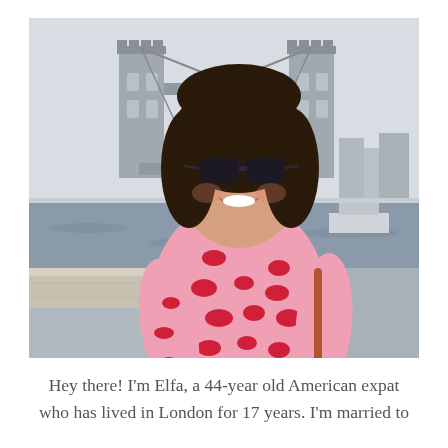[Figure (photo): A smiling woman with dark hair and sunglasses wearing a pink and red leopard-print top, standing in front of Tower Bridge in London with the River Thames visible behind her.]
Hey there! I'm Elfa, a 44-year old American expat who has lived in London for 17 years. I'm married to